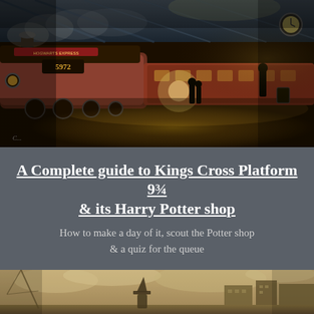[Figure (illustration): Fantasy illustration of the Hogwarts Express steam locomotive number 5972 at a train station platform, with golden atmospheric lighting, steam, passengers, a boy with an owl, and a large clock visible. Artist signature in lower left.]
A Complete guide to Kings Cross Platform 9¾ & its Harry Potter shop
How to make a day of it, scout the Potter shop & a quiz for the queue
[Figure (photo): Sepia-toned photograph of Kings Cross / St Pancras area in London, showing a figure wearing a wizard hat in the foreground, with a cityscape and dramatic cloudy sky in the background.]